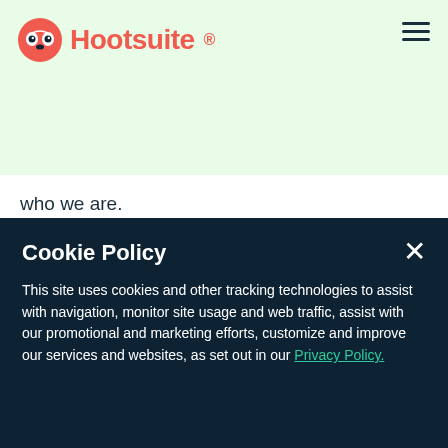Hootsuite
who we are.
Cookie Policy
This site uses cookies and other tracking technologies to assist with navigation, monitor site usage and web traffic, assist with our promotional and marketing efforts, customize and improve our services and websites, as set out in our Privacy Policy.